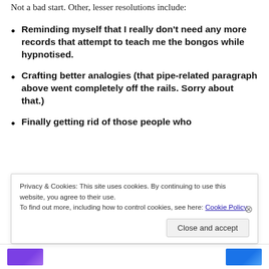Not a bad start. Other, lesser resolutions include:
Reminding myself that I really don't need any more records that attempt to teach me the bongos while hypnotised.
Crafting better analogies (that pipe-related paragraph above went completely off the rails. Sorry about that.)
Finally getting rid of those people who
Privacy & Cookies: This site uses cookies. By continuing to use this website, you agree to their use.
To find out more, including how to control cookies, see here: Cookie Policy
Close and accept